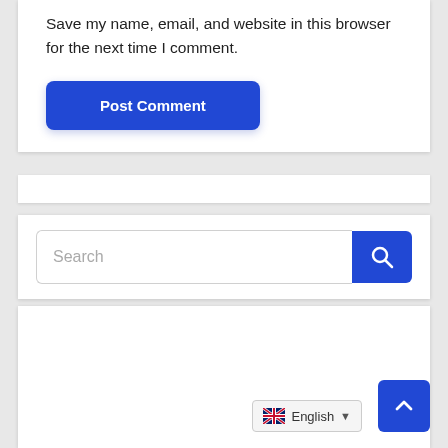Save my name, email, and website in this browser for the next time I comment.
Post Comment
[Figure (screenshot): Search input field with blue search button]
[Figure (screenshot): Empty white card panel at bottom of page]
[Figure (screenshot): Blue scroll-to-top button with up arrow chevron]
English